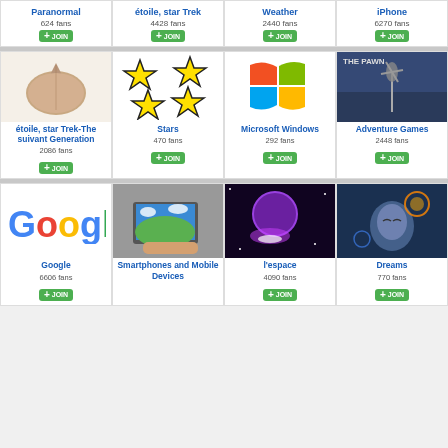Paranormal
624 fans
JOIN
étoile, star Trek
4428 fans
JOIN
Weather
2440 fans
JOIN
iPhone
6270 fans
JOIN
[Figure (illustration): Star Trek Next Generation communicator badge, gold/beige oval shape]
[Figure (illustration): Four yellow cartoon stars with black outlines on white background]
[Figure (illustration): Microsoft Windows logo — four colored window panes]
[Figure (illustration): The Pawn game cover — figure with windmill in sci-fi setting]
étoile, star Trek-The suivant Generation
2086 fans
JOIN
Stars
470 fans
JOIN
Microsoft Windows
292 fans
JOIN
Adventure Games
2448 fans
JOIN
[Figure (logo): Google logo in multicolor letters]
[Figure (photo): Hand holding a small laptop/smartphone with Windows XP desktop]
[Figure (illustration): Space scene with purple planet and light beams]
[Figure (illustration): Dreamy figure face with colorful energy swirls]
Google
6606 fans
JOIN
Smartphones and Mobile Devices
l'espace
4090 fans
JOIN
Dreams
770 fans
JOIN